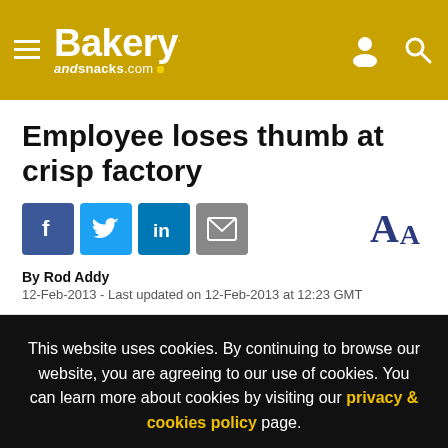Bakery andsnacks.com
Employee loses thumb at crisp factory
By Rod Addy
12-Feb-2013 - Last updated on 12-Feb-2013 at 12:23 GMT
This website uses cookies. By continuing to browse our website, you are agreeing to our use of cookies. You can learn more about cookies by visiting our privacy & cookies policy page.
I Agree